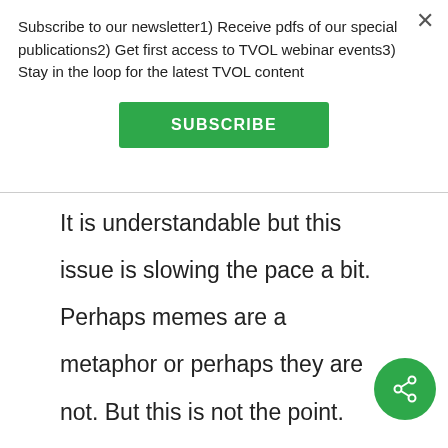Subscribe to our newsletter1) Receive pdfs of our special publications2) Get first access to TVOL webinar events3) Stay in the loop for the latest TVOL content
SUBSCRIBE
It is understandable but this issue is slowing the pace a bit. Perhaps memes are a metaphor or perhaps they are not. But this is not the point. The point is that cultural evolution, including the evolution of religions